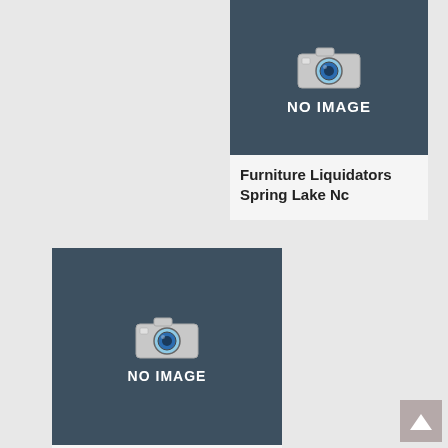[Figure (other): No image placeholder with camera icon and text 'NO IMAGE' on dark teal background]
Furniture Liquidators Spring Lake Nc
[Figure (other): No image placeholder with camera icon and text 'NO IMAGE' on dark teal background]
Value City Furniture Virginia Beach Va